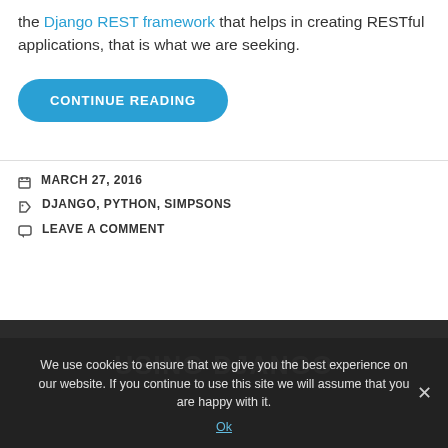the Django REST framework that helps in creating RESTful applications, that is what we are seeking.
CONTINUE READING
MARCH 27, 2016
DJANGO, PYTHON, SIMPSONS
LEAVE A COMMENT
USING DJANGO
We use cookies to ensure that we give you the best experience on our website. If you continue to use this site we will assume that you are happy with it.
Ok